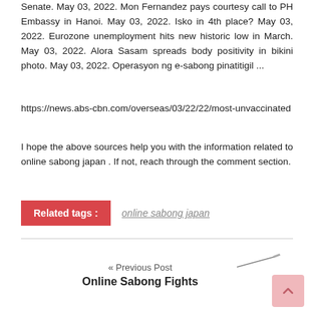Senate. May 03, 2022. Mon Fernandez pays courtesy call to PH Embassy in Hanoi. May 03, 2022. Isko in 4th place? May 03, 2022. Eurozone unemployment hits new historic low in March. May 03, 2022. Alora Sasam spreads body positivity in bikini photo. May 03, 2022. Operasyon ng e-sabong pinatitigil ...
https://news.abs-cbn.com/overseas/03/22/22/most-unvaccinated
I hope the above sources help you with the information related to online sabong japan . If not, reach through the comment section.
Related tags : online sabong japan
« Previous Post
Online Sabong Fights